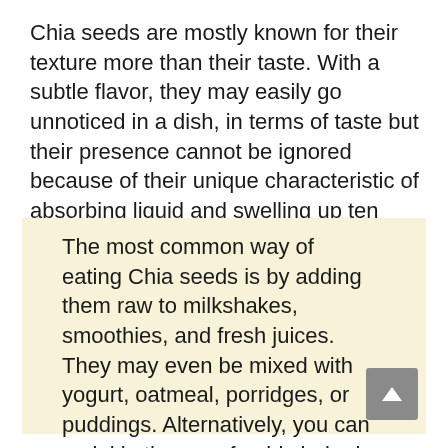Chia seeds are mostly known for their texture more than their taste. With a subtle flavor, they may easily go unnoticed in a dish, in terms of taste but their presence cannot be ignored because of their unique characteristic of absorbing liquid and swelling up ten times their size.
The most common way of eating Chia seeds is by adding them raw to milkshakes, smoothies, and fresh juices. They may even be mixed with yogurt, oatmeal, porridges, or puddings. Alternatively, you can sprinkle them on freshly baked bread or on salads to give them a crunch.